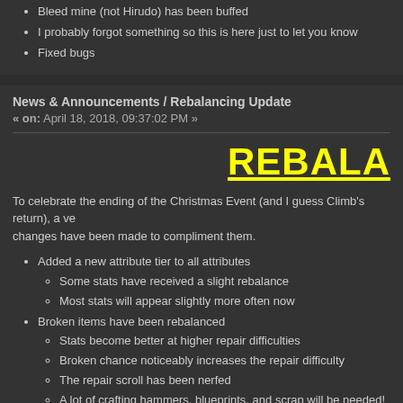Bleed mine (not Hirudo) has been buffed
I probably forgot something so this is here just to let you know
Fixed bugs
News & Announcements / Rebalancing Update
« on: April 18, 2018, 09:37:02 PM »
[Figure (other): REBAL banner text in yellow bold underlined font]
To celebrate the ending of the Christmas Event (and I guess Climb's return), a ve... changes have been made to compliment them.
Added a new attribute tier to all attributes
Some stats have received a slight rebalance
Most stats will appear slightly more often now
Broken items have been rebalanced
Stats become better at higher repair difficulties
Broken chance noticeably increases the repair difficulty
The repair scroll has been nerfed
A lot of crafting hammers, blueprints, and scrap will be needed!
All of series 1 relics (except Coral) have been upgraded
A scroll has been added to the Special section of the Shop
Old versions of relics can still drop, but are no longer available fro...